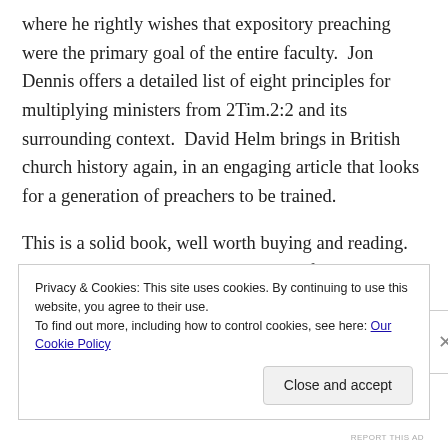where he rightly wishes that expository preaching were the primary goal of the entire faculty.  Jon Dennis offers a detailed list of eight principles for multiplying ministers from 2Tim.2:2 and its surrounding context.  David Helm brings in British church history again, in an engaging article that looks for a generation of preachers to be trained.
This is a solid book, well worth buying and reading.  The essays are all decent and worthy of their place, although it must be recognized that the offerings of Leland Ryken,
Privacy & Cookies: This site uses cookies. By continuing to use this website, you agree to their use.
To find out more, including how to control cookies, see here: Our Cookie Policy